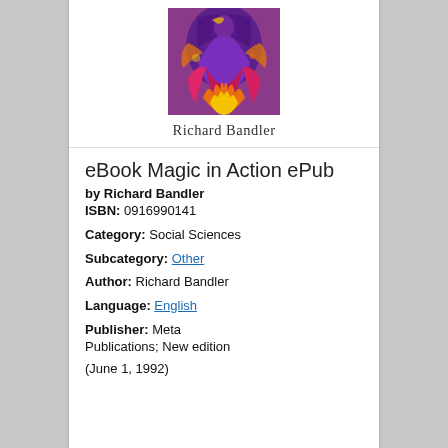[Figure (illustration): Book cover for Magic in Action by Richard Bandler, showing a colorful artistic illustration with purple, pink, orange and yellow tones featuring a figure. Below the artwork the author name 'Richard Bandler' is printed in serif font.]
eBook Magic in Action ePub
by Richard Bandler
ISBN: 0916990141
Category: Social Sciences
Subcategory: Other
Author: Richard Bandler
Language: English
Publisher: Meta Publications; New edition (June 1, 1992)